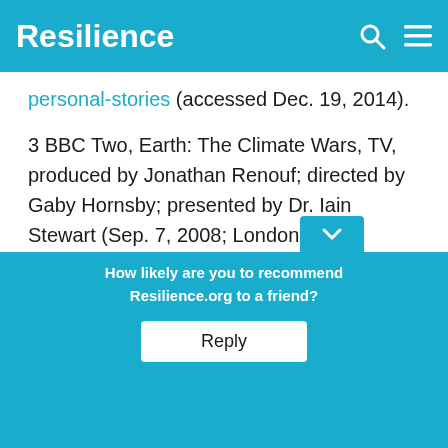Resilience
personal-stories (accessed Dec. 19, 2014).
3 BBC Two, Earth: The Climate Wars, TV, produced by Jonathan Renouf; directed by Gaby Hornsby; presented by Dr. Iain Stewart (Sep. 7, 2008; London: BBC Productions), https://www.youtube.com/watch?v=BuKgenуRbg8 (accessed Nov. ..., 2014).
4 Gra... r,
How likely are you to recommend Resilience.org to a friend?